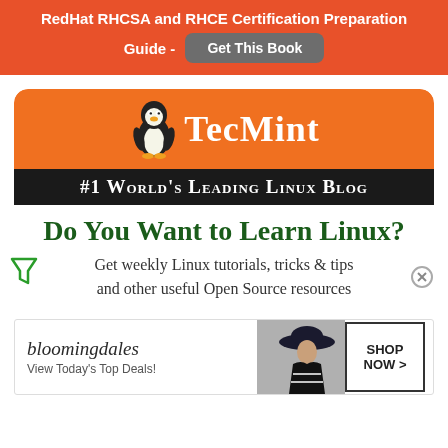RedHat RHCSA and RHCE Certification Preparation Guide - Get This Book
[Figure (logo): TecMint logo with Linux penguin mascot on orange rounded background]
#1 World's Leading Linux Blog
Do You Want to Learn Linux?
Get weekly Linux tutorials, tricks & tips and other useful Open Source resources
[Figure (screenshot): Bloomingdale's advertisement: View Today's Top Deals! SHOP NOW >]